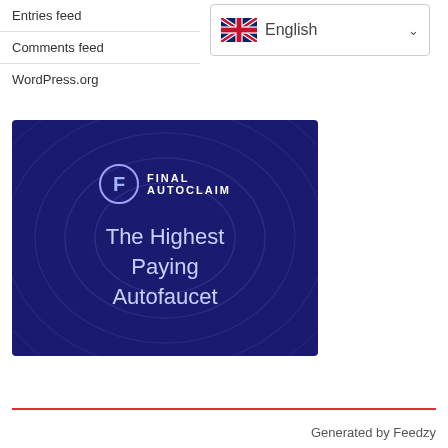Entries feed
Comments feed
WordPress.org
[Figure (screenshot): Language selector dropdown showing UK flag and 'English' with a chevron]
[Figure (illustration): Final Autoclaim advertisement banner on dark blue background with concentric rings, logo, and text 'The Highest Paying Autofaucet']
Generated by Feedzy